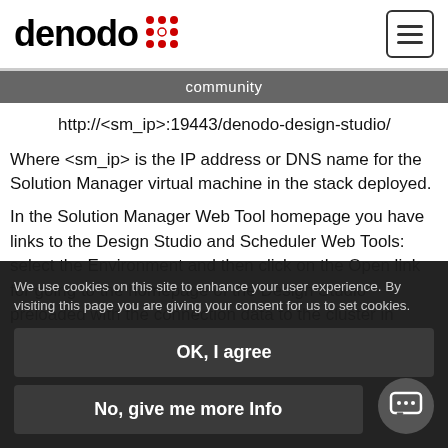denodo [logo] | community
http://<sm_ip>:19443/denodo-design-studio/
Where <sm_ip> is the IP address or DNS name for the Solution Manager virtual machine in the stack deployed.
In the Solution Manager Web Tool homepage you have links to the Design Studio and Scheduler Web Tools: select the Environment and then click on the Open link for going to the homepage of the Design Studio preloaded with the connection data to the cluster in
We use cookies on this site to enhance your user experience. By visiting this page you are giving your consent for us to set cookies.
OK, I agree
No, give me more Info